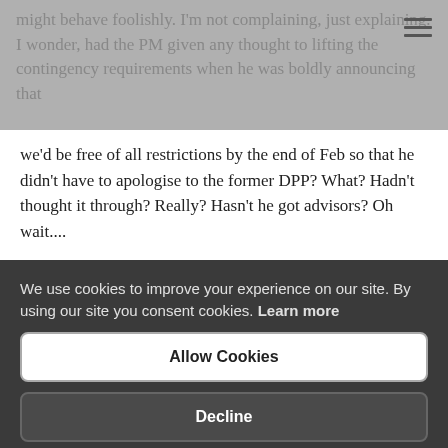might behave foolishly. I'm not complaining, just explaining. I wonder, had the PM given any thought to lifting the contingency requirements when he was boldly announcing that we'd be free of all restrictions by the end of Feb so that he didn't have to apologise to the former DPP? What? Hadn't thought it through? Really? Hasn't he got advisors? Oh wait....
CR
10.2.22
*SEND Green Paper, Mr Zahawi?
[Figure (screenshot): Facebook Like button (blue, rounded rectangle) showing 'Like 0' and Twitter Tweet button (blue, pill-shaped) showing 'Tweet']
We use cookies to improve your experience on our site. By using our site you consent cookies. Learn more
Allow Cookies
Decline